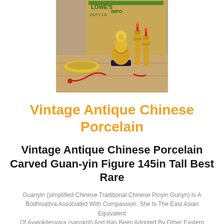[Figure (photo): Photo of a golden Buddhist/Guanyin figurine seated on a dark base with red cord, two gold pagoda-style candle holders with red candle tips, and a gold bowl, set on a wooden floor with a Lowe's cardboard box in background]
Vintage Antique Chinese Porcelain
Vintage Antique Chinese Porcelain Carved Guan-yin Figure 145in Tall Best Rare
Guanyin (simplified Chinese Traditional Chinese Pinyin Gunyn) Is A Bodhisattva Associated With Compassion. She Is The East Asian Equivalent Of Avalokitesvara (sanskrit) And Has Been Adopted By Other Eastern